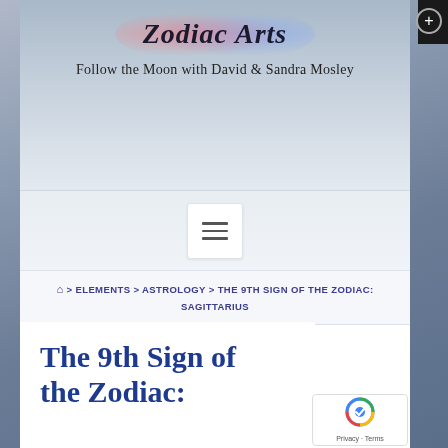Zodiac Arts — Follow the Moon with David & Sandra Mosley
[Figure (screenshot): Hamburger/menu toggle button icon with three horizontal lines]
⌂ › ELEMENTS › ASTROLOGY › THE 9TH SIGN OF THE ZODIAC: SAGITTARIUS
The 9th Sign of the Zodiac: